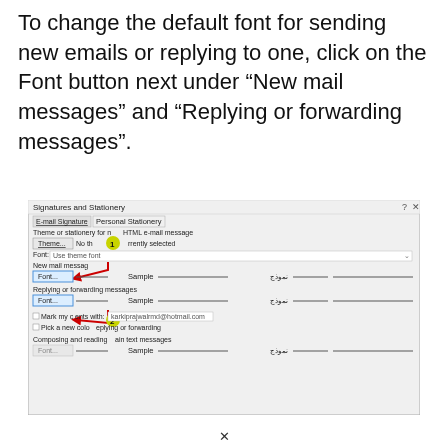To change the default font for sending new emails or replying to one, click on the Font button next under “New mail messages” and “Replying or forwarding messages”.
[Figure (screenshot): Screenshot of Outlook Signatures and Stationery dialog box showing Personal Stationery tab with Font buttons highlighted for New mail messages and Replying or forwarding messages sections, with numbered badges 1 and 2 and red arrows pointing to Font buttons.]